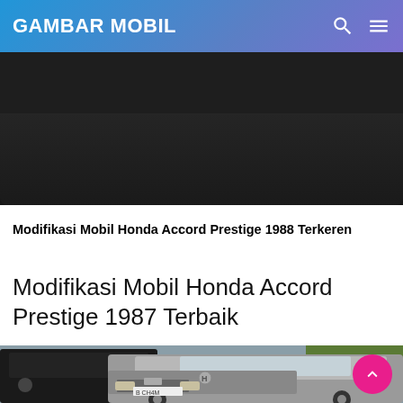GAMBAR MOBIL
[Figure (photo): Partial view of a dark-colored car, showing the hood and bumper area against a dark background]
Modifikasi Mobil Honda Accord Prestige 1988 Terkeren
Modifikasi Mobil Honda Accord Prestige 1987 Terbaik
[Figure (photo): A gray Honda Accord Prestige 1987 sedan parked in an outdoor parking lot, with a black SUV visible behind it on the left. License plate partially visible reads B CH4M. Green grass area visible in the background.]